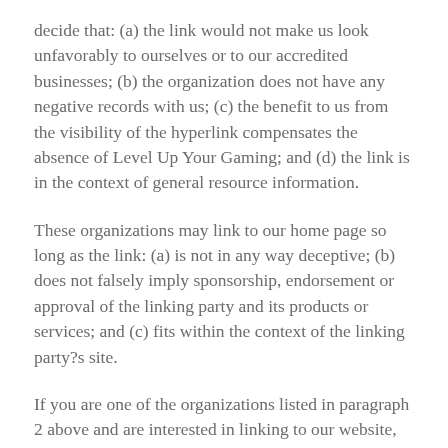decide that: (a) the link would not make us look unfavorably to ourselves or to our accredited businesses; (b) the organization does not have any negative records with us; (c) the benefit to us from the visibility of the hyperlink compensates the absence of Level Up Your Gaming; and (d) the link is in the context of general resource information.
These organizations may link to our home page so long as the link: (a) is not in any way deceptive; (b) does not falsely imply sponsorship, endorsement or approval of the linking party and its products or services; and (c) fits within the context of the linking party?s site.
If you are one of the organizations listed in paragraph 2 above and are interested in linking to our website, you must inform us by sending an e-mail to Level Up Your Gaming. Please include your name, your organization name, contact information as well as the URL of your site, a list of any URLs